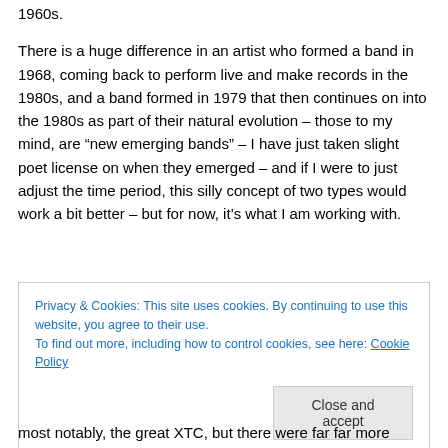1960s.
There is a huge difference in an artist who formed a band in 1968, coming back to perform live and make records in the 1980s, and a band formed in 1979 that then continues on into the 1980s as part of their natural evolution – those to my mind, are “new emerging bands” – I have just taken slight poet license on when they emerged – and if I were to just adjust the time period, this silly concept of two types would work a bit better – but for now, it’s what I am working with.
Privacy & Cookies: This site uses cookies. By continuing to use this website, you agree to their use.
To find out more, including how to control cookies, see here: Cookie Policy
Close and accept
most notably, the great XTC, but there were far far more